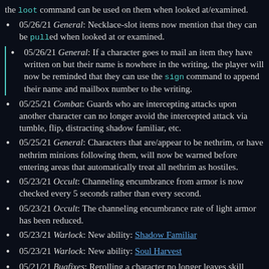the loot command can be used on them when looked at/examined.
05/26/21 General: Necklace-slot items now mention that they can be pulled when looked at or examined.
05/26/21 General: If a character goes to mail an item they have written on but their name is nowhere in the writing, the player will now be reminded that they can use the sign command to append their name and mailbox number to the writing.
05/25/21 Combat: Guards who are intercepting attacks upon another character can no longer avoid the intercepted attack via tumble, flip, distracting shadow familiar, etc.
05/25/21 General: Characters that are/appear to be nethrim, or have nethrim minions following them, will now be warned before entering areas that automatically treat all nethrim as hostiles.
05/23/21 Occult: Channeling encumbrance from armor is now checked every 5 seconds rather than every second.
05/23/21 Occult: The channeling encumbrance rate of light armor has been reduced.
05/23/21 Warlock: New ability: Shadow Familiar
05/23/21 Warlock: New ability: Soul Harvest
05/21/21 Bugfixes: Rerolling a character no longer leaves skill unlearning goals from before the reroll.
05/20/21 Documentation: New helpfile/wiki article: Aim